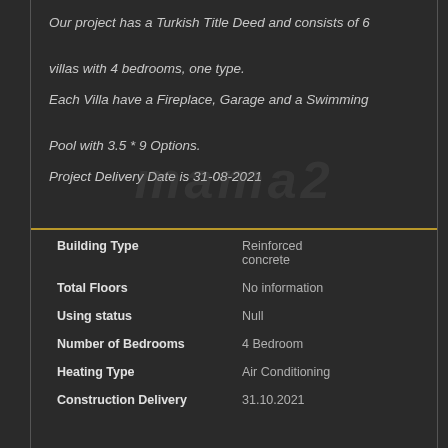Our project has a Turkish Title Deed and consists of 6 villas with 4 bedrooms, one type.

Each Villa have a Fireplace, Garage and a Swimming Pool with 3.5 * 9 Options.

Project Delivery Date is 31-08-2021
| Property | Value |
| --- | --- |
| Building Type | Reinforced concrete |
| Total Floors | No information |
| Using status | Null |
| Number of Bedrooms | 4 Bedroom |
| Heating Type | Air Conditioning |
| Construction Delivery | 31.10.2021 |